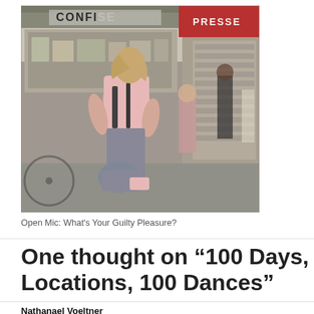[Figure (photo): Street scene in France showing a woman in a pink top carrying a bag, walking past a confiserie shop with 'PRESSE' sign visible in background, other pedestrians visible]
Open Mic: What's Your Guilty Pleasure?
One thought on “100 Days, Locations, 100 Dances”
Nathanael Voeltner
October 25, 2010 at 10:25 pm   Reply